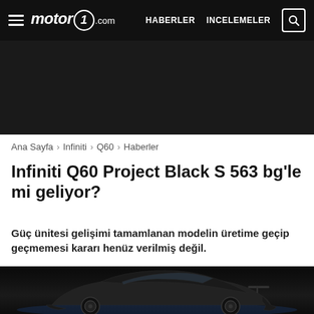motor1.com — HABERLER  INCELEMELER
[Figure (other): Dark advertisement banner area]
Ana Sayfa › Infiniti › Q60 › Haberler
Infiniti Q60 Project Black S 563 bg'le mi geliyor?
Güç ünitesi gelişimi tamamlanan modelin üretime geçip geçmemesi kararı henüz verilmiş değil.
[Figure (photo): Infiniti Q60 Project Black S sports car, dark matte black paint, shown against a dark background with subtle blue ground lighting]